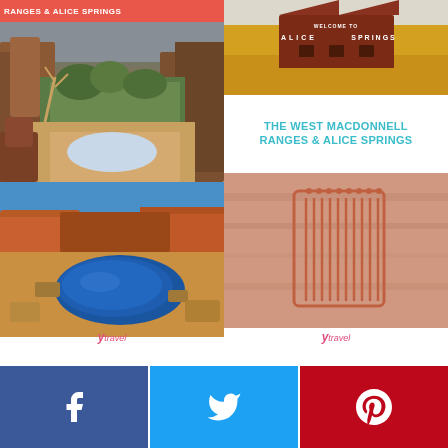[Figure (photo): Left Pinterest card: top red banner reading 'RANGES & ALICE SPRINGS', below that a canyon landscape with red rock formations and green trees, then a waterhole/pool in rocky orange desert landscape with blue sky. Branded with 'Ytravel' at bottom.]
[Figure (photo): Right Pinterest card: top photo of 'Welcome to Alice Springs' sign on yellow desert plains; title text 'THE WEST MACDONNELL RANGES & ALICE SPRINGS' in teal; bottom photo of Aboriginal rock art on pink sandstone. Branded with 'Ytravel' at bottom.]
[Figure (infographic): Social share buttons row: Facebook (blue), Twitter (light blue), Pinterest (red), each with respective icon.]